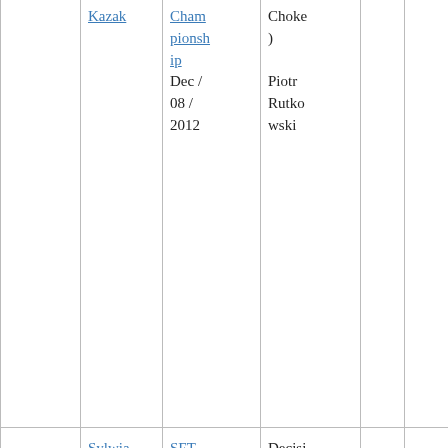| Result | Opponent | Event | Method | Round | Time |
| --- | --- | --- | --- | --- | --- |
|  | Kazak | Championship Dec / 08 / 2012 | Choke) Piotr Rutkowski |  |  |
| WIN | Sylwia Juskiewicz | SFT – MMA Fight Night Diva SPA May / 19 / 2012 | Decision (Unanimous) Krzysztof Kulak | 2 | 5:00 |